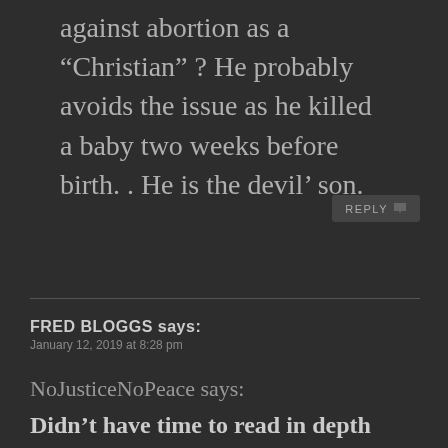against abortion as a “Christian” ? He probably avoids the issue as he killed a baby two weeks before birth. . He is the devil’ son.
REPLY
FRED BLOGGS says:
January 12, 2019 at 8:28 pm
NoJusticeNoPeace says:
Didn’t have time to read in depth